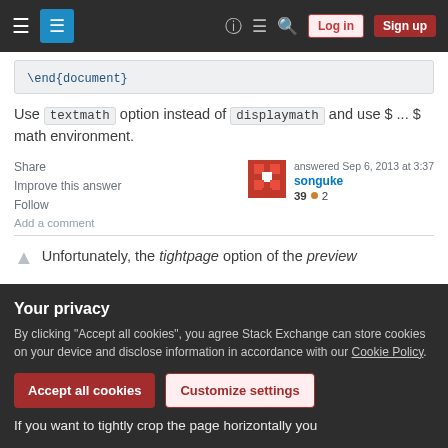Stack Exchange navigation bar with Log in and Sign up buttons
\end{document}
Use textmath option instead of displaymath and use $ ... $ math environment.
Share
Improve this answer
Follow
answered Sep 6, 2013 at 3:37
songuke 39 ● 2
Add a comment
Unfortunately, the tightpage option of the preview
Your privacy
By clicking "Accept all cookies", you agree Stack Exchange can store cookies on your device and disclose information in accordance with our Cookie Policy.
Accept all cookies
Customize settings
If you want to tightly crop the page horizontally you